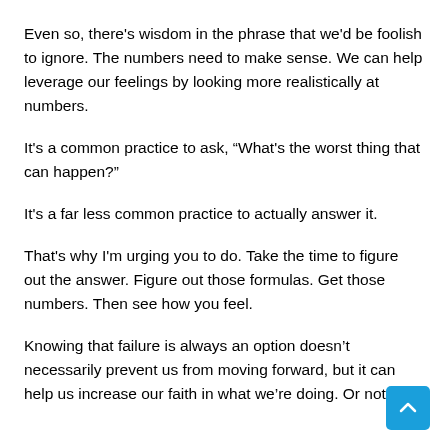Even so, there's wisdom in the phrase that we'd be foolish to ignore. The numbers need to make sense. We can help leverage our feelings by looking more realistically at numbers.
It's a common practice to ask, “What's the worst thing that can happen?”
It's a far less common practice to actually answer it.
That's why I'm urging you to do. Take the time to figure out the answer. Figure out those formulas. Get those numbers. Then see how you feel.
Knowing that failure is always an option doesn’t necessarily prevent us from moving forward, but it can help us increase our faith in what we’re doing. Or not.